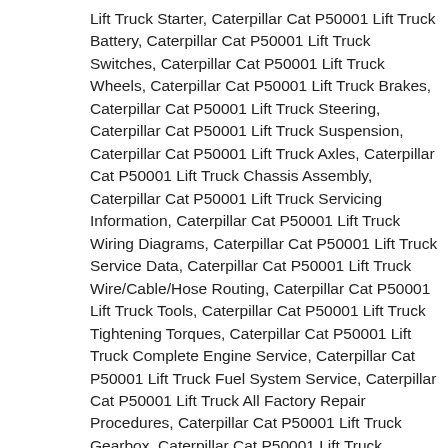Lift Truck Starter, Caterpillar Cat P50001 Lift Truck Battery, Caterpillar Cat P50001 Lift Truck Switches, Caterpillar Cat P50001 Lift Truck Wheels, Caterpillar Cat P50001 Lift Truck Brakes, Caterpillar Cat P50001 Lift Truck Steering, Caterpillar Cat P50001 Lift Truck Suspension, Caterpillar Cat P50001 Lift Truck Axles, Caterpillar Cat P50001 Lift Truck Chassis Assembly, Caterpillar Cat P50001 Lift Truck Servicing Information, Caterpillar Cat P50001 Lift Truck Wiring Diagrams, Caterpillar Cat P50001 Lift Truck Service Data, Caterpillar Cat P50001 Lift Truck Wire/Cable/Hose Routing, Caterpillar Cat P50001 Lift Truck Tools, Caterpillar Cat P50001 Lift Truck Tightening Torques, Caterpillar Cat P50001 Lift Truck Complete Engine Service, Caterpillar Cat P50001 Lift Truck Fuel System Service, Caterpillar Cat P50001 Lift Truck All Factory Repair Procedures, Caterpillar Cat P50001 Lift Truck Gearbox, Caterpillar Cat P50001 Lift Truck Suspension,